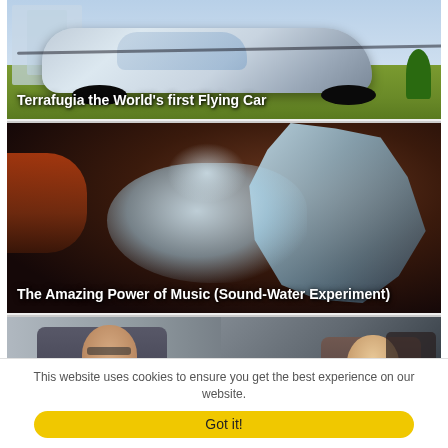[Figure (photo): Futuristic flying car (Terrafugia) hovering above a grassy field with city buildings in background. White/silver vehicle with car body and aircraft features. Title overlay reads 'Terrafugia the World's first Flying Car'.]
[Figure (photo): Close-up photo of water being shaped by sound waves (Cymatics / Sound-Water Experiment), showing abstract water sculpture forms against a dark background. Title overlay reads 'The Amazing Power of Music (Sound-Water Experiment)'.]
[Figure (photo): Two people in a lab or workshop setting. A young man with glasses on the left and a person with equipment on the right.]
This website uses cookies to ensure you get the best experience on our website.
Got it!